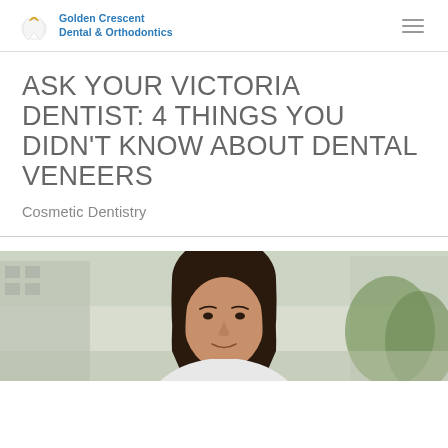Golden Crescent Dental & Orthodontics
ASK YOUR VICTORIA DENTIST: 4 THINGS YOU DIDN'T KNOW ABOUT DENTAL VENEERS
Cosmetic Dentistry
[Figure (photo): Portrait photo of a young woman with dark hair, smiling, outdoors with blurred building and greenery in background]